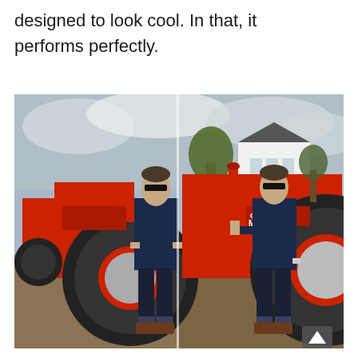designed to look cool. In that, it performs perfectly.
[Figure (photo): Two side-by-side photos of a man in a navy blue zip-up jacket, dark jeans with rolled cuffs, and brown leather boots wearing sunglasses, posing in front of a vintage red International Harvester Farmall tractor. Left photo shows him standing with hands on hips in front of the large rear tractor tire. Right photo shows him leaning against the tractor with one arm resting on it. Background shows a white farmhouse, trees, yellow flowers, and an overcast sky.]